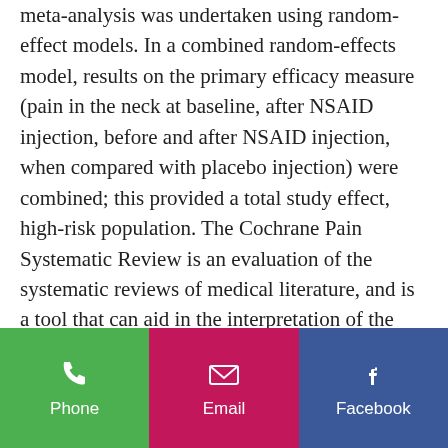meta-analysis was undertaken using random-effect models. In a combined random-effects model, results on the primary efficacy measure (pain in the neck at baseline, after NSAID injection, before and after NSAID injection, when compared with placebo injection) were combined; this provided a total study effect, high-risk population. The Cochrane Pain Systematic Review is an evaluation of the systematic reviews of medical literature, and is a tool that can aid in the interpretation of the evidence related to the safety and potential efficacy of non-steroidal anti-inflammatory drugs and NSAIDs, which is important to evaluate for both physicians and patients.
To facilitate their interpretation of the results, we decided to group both types of trials into
[Figure (infographic): Bottom navigation bar with three buttons: Phone (green), Email (pink/magenta), Facebook (blue)]